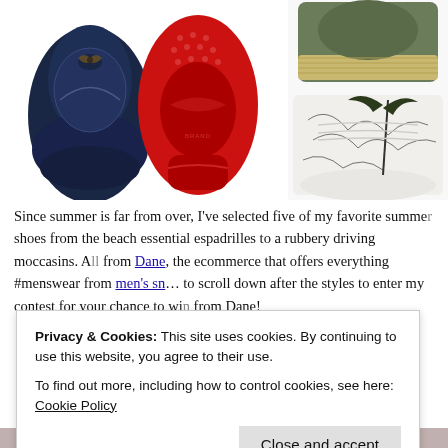[Figure (photo): Two photos of shoes: left side shows a navy blue driving moccasin (top view) and its red-soled bottom view; right side shows an espadrille and a printed high-top sneaker.]
Since summer is far from over, I've selected five of my favorite summer shoes from the beach essential espadrilles to a rubbery driving moccasins. All from Dane, the ecommerce that offers everything #menswear from men's sneakers... to scroll down after the styles to enter my contest for your chance to win from Dane!
Privacy & Cookies: This site uses cookies. By continuing to use this website, you agree to their use.
To find out more, including how to control cookies, see here: Cookie Policy
Close and accept